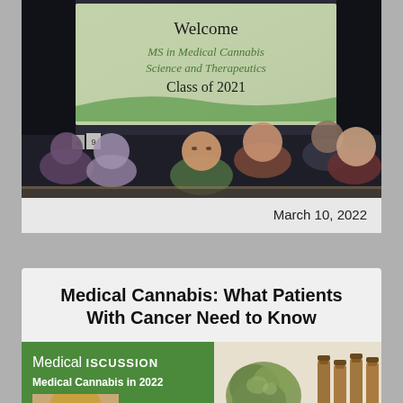[Figure (photo): Photo of a welcome event for MS in Medical Cannabis Science and Therapeutics Class of 2021, showing a projection screen with welcome text and attendees seated at tables in the foreground]
March 10, 2022
Medical Cannabis: What Patients With Cancer Need to Know
[Figure (screenshot): Medical Discussion banner showing 'Medical Cannabis in 2022' with a photo of a presenter and an image of cannabis buds and amber medicine bottles]